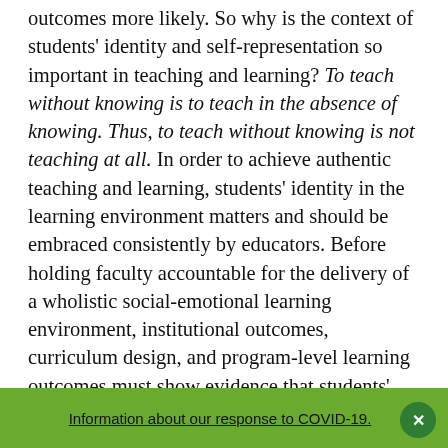outcomes more likely. So why is the context of students' identity and self-representation so important in teaching and learning? To teach without knowing is to teach in the absence of knowing. Thus, to teach without knowing is not teaching at all. In order to achieve authentic teaching and learning, students' identity in the learning environment matters and should be embraced consistently by educators. Before holding faculty accountable for the delivery of a wholistic social-emotional learning environment, institutional outcomes, curriculum design, and program-level learning outcomes must show evidence that students' identity and self-representation are incorporated in major core requirements and formative assessments. In sum, college students' identity — when fully embraced by educators — is fundamental to students' capacity to
Information about our response to COVID-19.